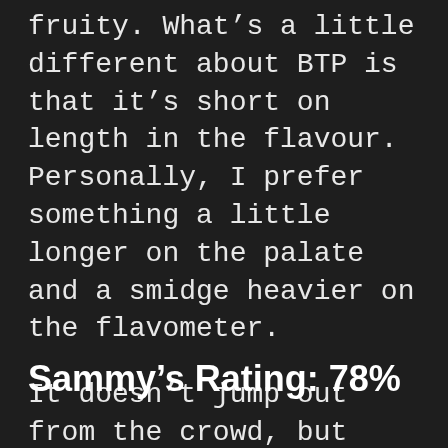fruity.  What’s a little different about BTP is that it’s short on length in the flavour.  Personally, I prefer something a little longer on the palate and a smidge heavier on the flavometer.
It doesn’t jump out from the crowd, but that doesn’t mean it’s not good.
Sammy’s Rating: 78%